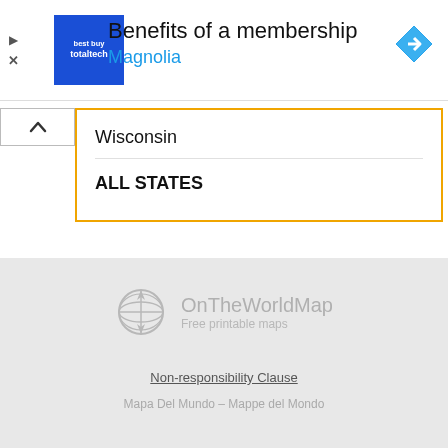[Figure (screenshot): Advertisement banner for Best Buy Totaltech membership at Magnolia with blue logo square and navigation arrow icon]
Wisconsin
ALL STATES
[Figure (logo): OnTheWorldMap globe logo with text 'OnTheWorldMap - Free printable maps' in grey]
Non-responsibility Clause
Mapa Del Mundo - Mappe del Mondo